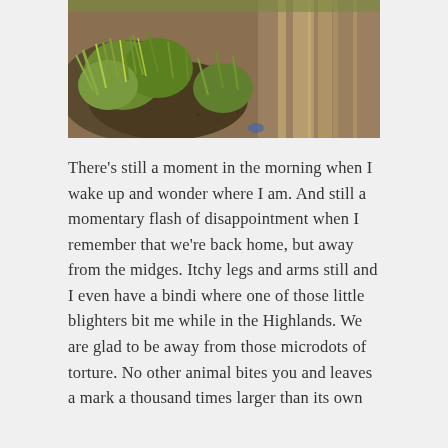[Figure (photo): Close-up photo of green grass clumps and bare brown/sandy soil with parallel furrow marks visible on the right side]
There's still a moment in the morning when I wake up and wonder where I am. And still a momentary flash of disappointment when I remember that we're back home, but away from the midges. Itchy legs and arms still and I even have a bindi where one of those little blighters bit me while in the Highlands. We are glad to be away from those microdots of torture. No other animal bites you and leaves a mark a thousand times larger than its own body in...